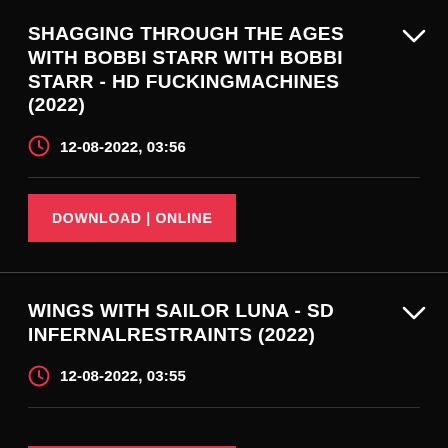SHAGGING THROUGH THE AGES WITH BOBBI STARR WITH BOBBI STARR - HD FUCKINGMACHINES (2022)
12-08-2022, 03:56
DOWNLOAD | ONLINE
WINGS WITH SAILOR LUNA - SD INFERNALRESTRAINTS (2022)
12-08-2022, 03:55